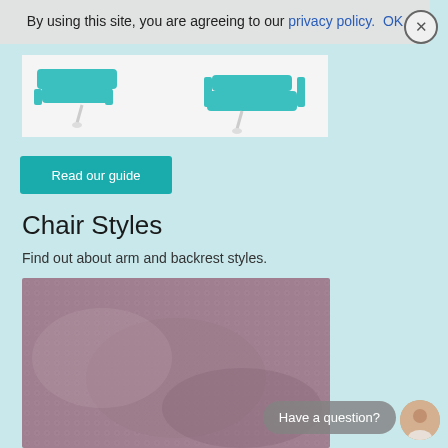By using this site, you are agreeing to our privacy policy.  OK
[Figure (illustration): Illustration of recliner chair styles on white background with teal/turquoise colored chairs]
Read our guide
Chair Styles
Find out about arm and backrest styles.
[Figure (photo): Close-up photo of a mauve/purple textured fabric armchair showing arm and cushion detail]
Have a question?